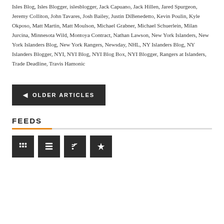Blogger, Islanders Hockey Blog, Islanders Power Play, Isles, Isles Blog, Isles Blogger, islesblogger, Jack Capuano, Jack Hillen, Jared Spurgeon, Jeremy Colliton, John Tavares, Josh Bailey, Justin DiBenedetto, Kevin Poulin, Kyle Okposo, Matt Martin, Matt Moulson, Michael Grabner, Michael Schuerlein, Milan Jurcina, Minnesota Wild, Montoya Contract, Nathan Lawson, New York Islanders, New York Islanders Blog, New York Rangers, Newsday, NHL, NY Islanders Blog, NY Islanders Blogger, NYI, NYI Blog, NYI Blog Box, NYI Blogger, Rangers at Islanders, Trade Deadline, Travis Hamonic
OLDER ARTICLES
FEEDS
[Figure (other): Four dark square icon buttons representing social media or RSS feed links]